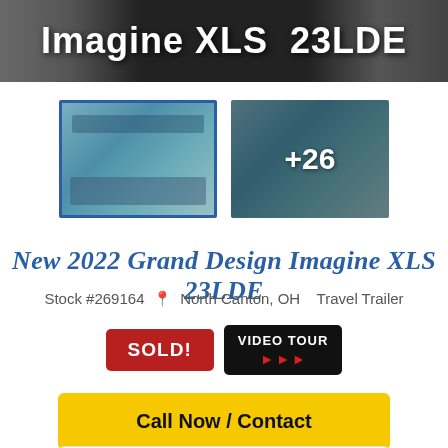Imagine XLS 23LDE
[Figure (photo): Thumbnail of RV interior with blue border (selected state)]
[Figure (photo): Thumbnail of RV interior with +26 overlay indicating more photos]
New 2022 Grand Design Imagine XLS 23LDE
Stock #269164  North Canton, OH  Travel Trailer
SOLD!
VIDEO TOUR
Call Now / Contact
Request Info